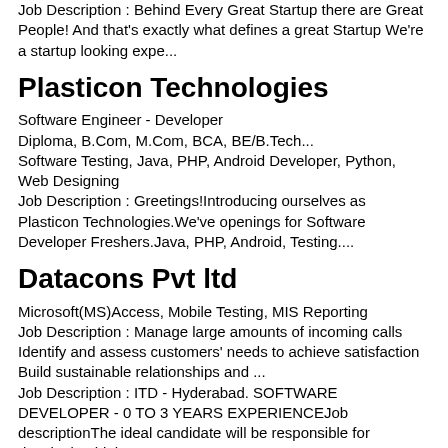Job Description : Behind Every Great Startup there are Great People!  And that's exactly what defines a great Startup We're a startup looking expe...
Plasticon Technologies
Software Engineer - Developer
Diploma, B.Com, M.Com, BCA, BE/B.Tech...
Software Testing, Java, PHP, Android Developer, Python, Web Designing
Job Description : Greetings!Introducing ourselves as Plasticon Technologies.We've openings for Software Developer Freshers.Java, PHP, Android, Testing....
Datacons Pvt ltd
Microsoft(MS)Access, Mobile Testing, MIS Reporting
Job Description : Manage large amounts of incoming calls Identify and assess customers' needs to achieve satisfaction Build sustainable relationships and ...
Job Description : ITD - Hyderabad. SOFTWARE DEVELOPER - 0 TO 3 YEARS EXPERIENCEJob descriptionThe ideal candidate will be responsible for developing high-qua...
Webolution solution
C++, Java, Corel Draw, JavaScript, Software Architecture
Job Description : Job Role and ...